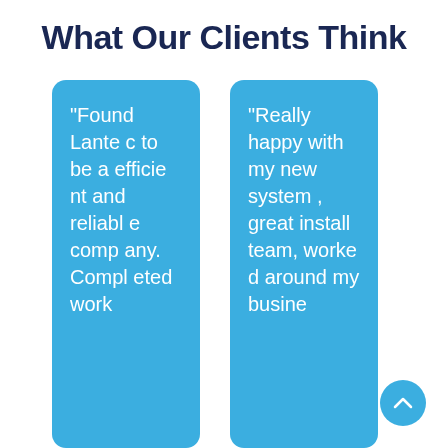What Our Clients Think
“Found Lantec to be a efficient and reliable company. Completed work
“Really happy with my new system, great install team, worked around my busine